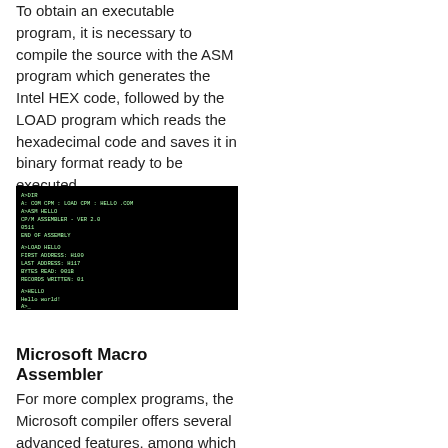To obtain an executable program, it is necessary to compile the source with the ASM program which generates the Intel HEX code, followed by the LOAD program which reads the hexadecimal code and saves it in binary format ready to be executed.
[Figure (screenshot): Terminal/console screenshot showing CP/M assembler and LOAD program output with green text on black background, including commands like LOAD HELLO and output such as FIRST ADDRESS: H100, LAST ADDRESS: H117, BYTES READ: 001B, RECORDS WRITTEN: 01, followed by execution of HELLO showing 'Hello world!']
Microsoft Macro Assembler
For more complex programs, the Microsoft compiler offers several advanced features, among which the possibility to